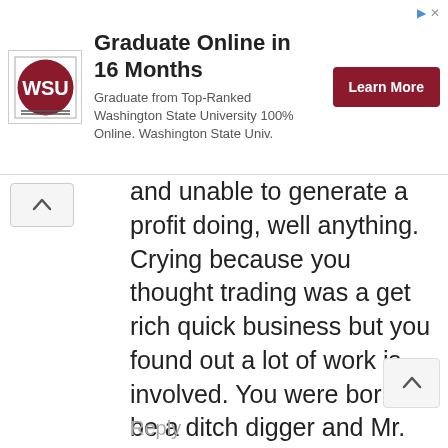[Figure (screenshot): Advertisement banner for Washington State University online graduate program with WSU logo, headline 'Graduate Online in 16 Months', subtitle text, and a red 'Learn More' button]
and unable to generate a profit doing, well anything. Crying because you thought trading was a get rich quick business but you found out a lot of work is involved. You were born to be a ditch digger and Mr. Cameron did not choose that fate for you. Stop blaming others for your parents bad genes. Pick up a shovel and do what you were made for. And be happy in your work
Reply